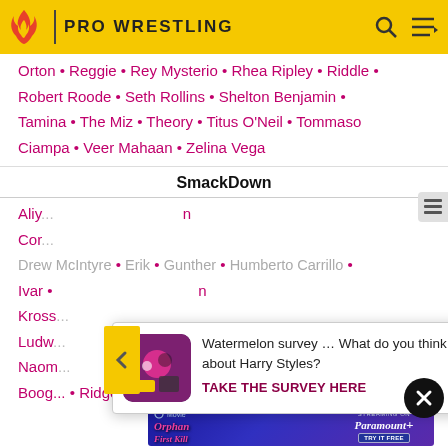PRO WRESTLING
Orton • Reggie • Rey Mysterio • Rhea Ripley • Riddle • Robert Roode • Seth Rollins • Shelton Benjamin • Tamina • The Miz • Theory • Titus O'Neil • Tommaso Ciampa • Veer Mahaan • Zelina Vega
SmackDown
Aliy... ...n Cor... Drew McIntyre • Erik • Gunther • Humberto Carrillo • Ivar • ...on Kross... Ludw... Naom... Rick Boog... • Ridge Holland • Roman Reigns • Ronda Rousey...
[Figure (screenshot): Survey popup advertisement: image icon with watermelon/survey graphic, text 'Watermelon survey … What do you think about Harry Styles?' with CTA 'TAKE THE SURVEY HERE']
[Figure (screenshot): Paramount+ movie advertisement for 'Orphan: First Kill' - streaming on Paramount+, Try It Free]